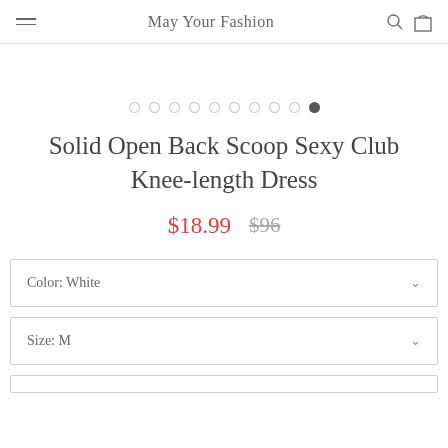May Your Fashion
[Figure (other): Image carousel dot navigation with 9 empty dots and 1 filled dot (active, last position)]
Solid Open Back Scoop Sexy Club Knee-length Dress
$18.99  $96
Color: White
Size: M